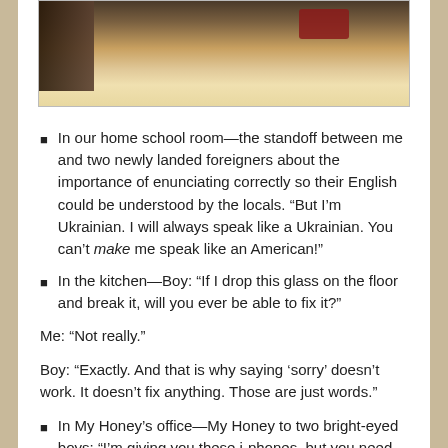[Figure (photo): Partial photo showing a room interior with beige/tan floor or bedding, dark furniture on left, and a red object in upper right area.]
In our home school room—the standoff between me and two newly landed foreigners about the importance of enunciating correctly so their English could be understood by the locals. “But I’m Ukrainian. I will always speak like a Ukrainian. You can’t make me speak like an American!”
In the kitchen—Boy: “If I drop this glass on the floor and break it, will you ever be able to fix it?”
Me: “Not really.”
Boy: “Exactly. And that is why saying ‘sorry’ doesn’t work. It doesn’t fix anything. Those are just words.”
In My Honey’s office—My Honey to two bright-eyed boys: “I’m giving you these i-phones, but you need to know how dangerous they are. They can be used for good and they can be used for bad. It’s a right that…